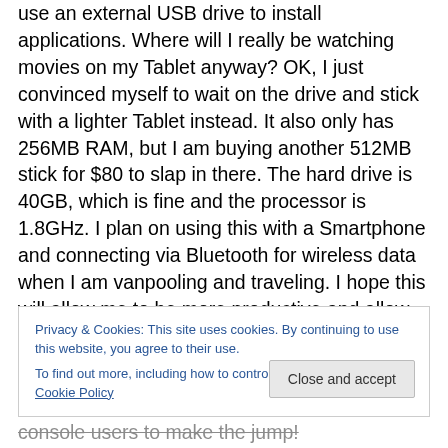use an external USB drive to install applications. Where will I really be watching movies on my Tablet anyway? OK, I just convinced myself to wait on the drive and stick with a lighter Tablet instead. It also only has 256MB RAM, but I am buying another 512MB stick for $80 to slap in there. The hard drive is 40GB, which is fine and the processor is 1.8GHz. I plan on using this with a Smartphone and connecting via Bluetooth for wireless data when I am vanpooling and traveling. I hope this will allow me to be more productive and allow me to get away from sitting in front of the desktop. I do use my mobile devices for
Privacy & Cookies: This site uses cookies. By continuing to use this website, you agree to their use.
To find out more, including how to control cookies, see here: Cookie Policy
console users to make the jump!